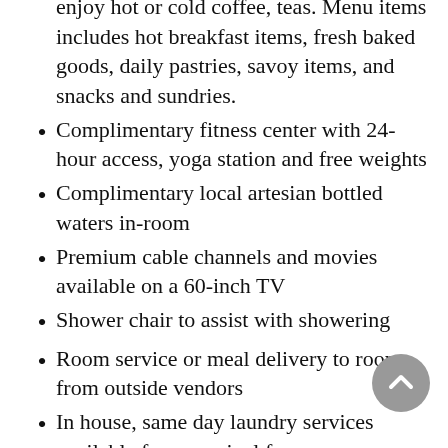enjoy hot or cold coffee, teas. Menu items includes hot breakfast items, fresh baked goods, daily pastries, savoy items, and snacks and sundries.
Complimentary fitness center with 24-hour access, yoga station and free weights
Complimentary local artesian bottled waters in-room
Premium cable channels and movies available on a 60-inch TV
Shower chair to assist with showering
Room service or meal delivery to room from outside vendors
In house, same day laundry services available for a nominal fee
Discounted parking in adjacent secure, self-